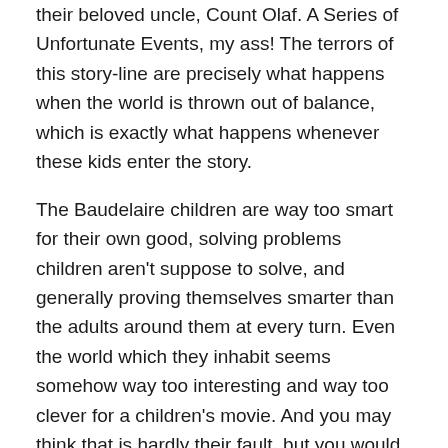their beloved uncle, Count Olaf. A Series of Unfortunate Events, my ass! The terrors of this story-line are precisely what happens when the world is thrown out of balance, which is exactly what happens whenever these kids enter the story.
The Baudelaire children are way too smart for their own good, solving problems children aren't suppose to solve, and generally proving themselves smarter than the adults around them at every turn. Even the world which they inhabit seems somehow way too interesting and way too clever for a children's movie. And you may think that is hardly their fault, but you would be wrong to think that.
Just ask Violet!!!
You see the whole point of a children's movie isn't to tell a story that children will find entertaining; it is to tell a story